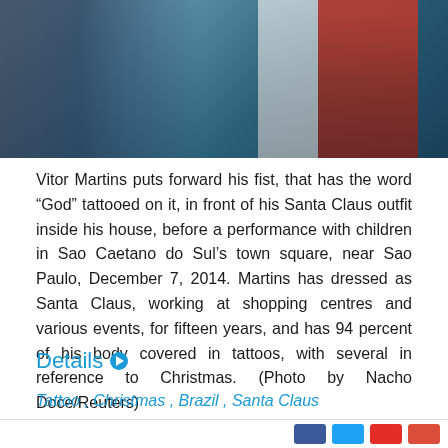[Figure (photo): Close-up photo of a person in a Santa Claus outfit with a tattooed fist, with red and white fabric visible in the background.]
Vitor Martins puts forward his fist, that has the word “God” tattooed on it, in front of his Santa Claus outfit inside his house, before a performance with children in Sao Caetano do Sul’s town square, near Sao Paulo, December 7, 2014. Martins has dressed as Santa Claus, working at shopping centres and various events, for fifteen years, and has 94 percent of his body covered in tattoos, with several in reference to Christmas. (Photo by Nacho Doce/Reuters)
Details
Tattoo , Christmas , Brazil , Santa Claus